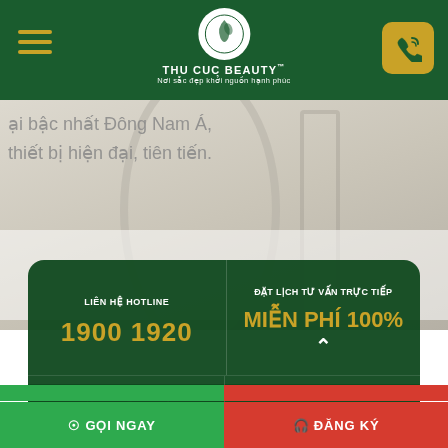[Figure (screenshot): Thu Cuc Beauty website header with logo, hamburger menu, and phone button on dark green background]
ại bậc nhất Đông Nam Á,
hiết bị hiện đại, tiên tiến.
[Figure (photo): Interior photo of a beauty clinic room with decorative mirror, light tones]
LIÊN HỆ HOTLINE
1900 1920
ĐẶT LỊCH TƯ VẤN TRỰC TIẾP
MIỄN PHÍ 100%
GIẢI ĐÁP MIỄN PHÍ MỌI
CÙNG CÁC CHUYÊN GIA
⊙ GỌI NGAY
🎧 ĐĂNG KÝ
CỦA KHÁCH HÀNG 24/7